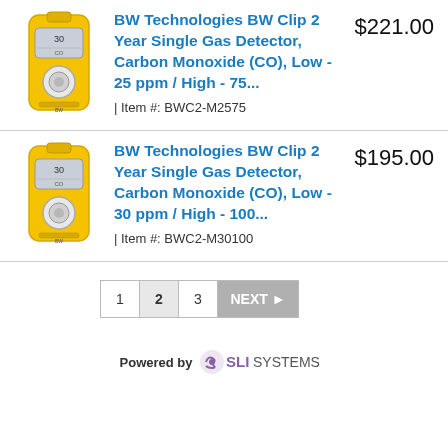[Figure (photo): BW Technologies BW Clip yellow single gas detector device]
BW Technologies BW Clip 2 Year Single Gas Detector, Carbon Monoxide (CO), Low - 25 ppm / High - 75...
| Item #: BWC2-M2575
$221.00
[Figure (photo): BW Technologies BW Clip yellow single gas detector device]
BW Technologies BW Clip 2 Year Single Gas Detector, Carbon Monoxide (CO), Low - 30 ppm / High - 100...
| Item #: BWC2-M30100
$195.00
1  2  3  NEXT ▶
Powered by SLI SYSTEMS.